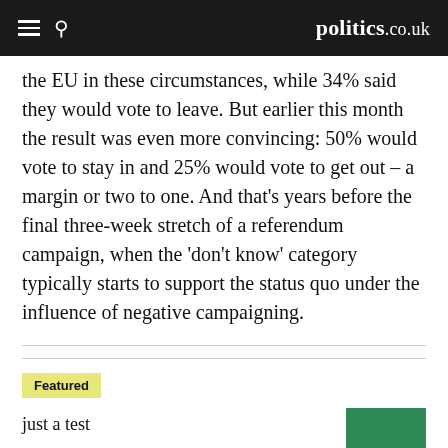politics.co.uk
the EU in these circumstances, while 34% said they would vote to leave. But earlier this month the result was even more convincing: 50% would vote to stay in and 25% would vote to get out – a margin or two to one. And that's years before the final three-week stretch of a referendum campaign, when the 'don't know' category typically starts to support the status quo under the influence of negative campaigning.
Featured
just a test